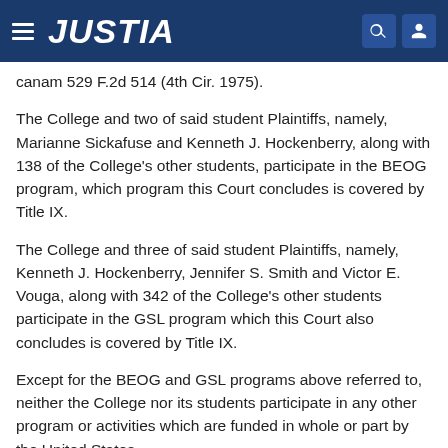JUSTIA
canam 529 F.2d 514 (4th Cir. 1975).
The College and two of said student Plaintiffs, namely, Marianne Sickafuse and Kenneth J. Hockenberry, along with 138 of the College's other students, participate in the BEOG program, which program this Court concludes is covered by Title IX.
The College and three of said student Plaintiffs, namely, Kenneth J. Hockenberry, Jennifer S. Smith and Victor E. Vouga, along with 342 of the College's other students participate in the GSL program which this Court also concludes is covered by Title IX.
Except for the BEOG and GSL programs above referred to, neither the College nor its students participate in any other program or activities which are funded in whole or part by the United States.